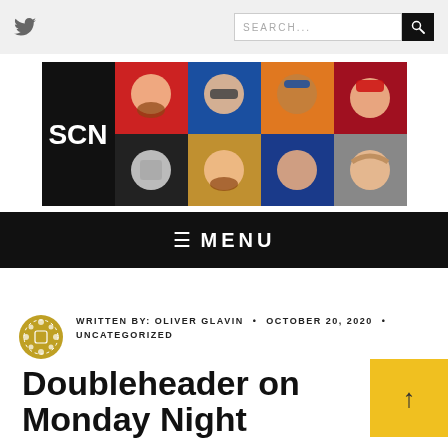Twitter icon, search bar
[Figure (logo): SCN sports comedy network logo grid with illustrated cartoon faces on colored backgrounds (red, blue, orange, dark red, black, gold, dark blue, gray) and SCN text logo on black background]
≡ MENU
WRITTEN BY: OLIVER GLAVIN • OCTOBER 20, 2020 • UNCATEGORIZED
Doubleheader on Monday Night